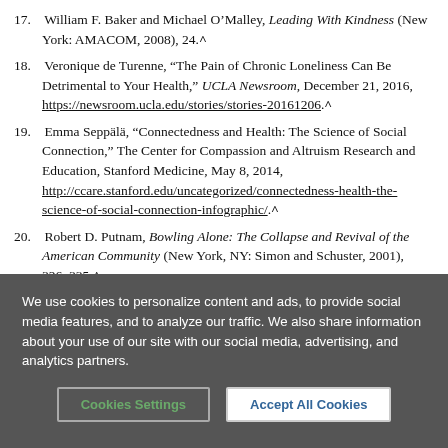17. William F. Baker and Michael O'Malley, Leading With Kindness (New York: AMACOM, 2008), 24.^
18. Veronique de Turenne, "The Pain of Chronic Loneliness Can Be Detrimental to Your Health," UCLA Newsroom, December 21, 2016, https://newsroom.ucla.edu/stories/stories-20161206.^
19. Emma Seppälä, "Connectedness and Health: The Science of Social Connection," The Center for Compassion and Altruism Research and Education, Stanford Medicine, May 8, 2014, http://ccare.stanford.edu/uncategorized/connectedness-health-the-science-of-social-connection-infographic/.^
20. Robert D. Putnam, Bowling Alone: The Collapse and Revival of the American Community (New York, NY: Simon and Schuster, 2001), 326–335.^
21. Ellen G. White, The Acts of the Apostles (Mountain View, CA: Pacific
We use cookies to personalize content and ads, to provide social media features, and to analyze our traffic. We also share information about your use of our site with our social media, advertising, and analytics partners.